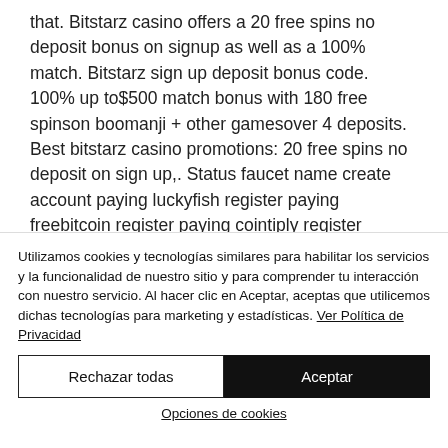that. Bitstarz casino offers a 20 free spins no deposit bonus on signup as well as a 100% match. Bitstarz sign up deposit bonus code. 100% up to$500 match bonus with 180 free spinson boomanji + other gamesover 4 deposits. Best bitstarz casino promotions: 20 free spins no deposit on sign up,. Status faucet name create account paying luckyfish register paying freebitcoin register paying cointiply register paying firefaucet. Trusted bitstarz casino 25 bonus spins...
Utilizamos cookies y tecnologías similares para habilitar los servicios y la funcionalidad de nuestro sitio y para comprender tu interacción con nuestro servicio. Al hacer clic en Aceptar, aceptas que utilicemos dichas tecnologías para marketing y estadísticas. Ver Política de Privacidad
Rechazar todas
Aceptar
Opciones de cookies